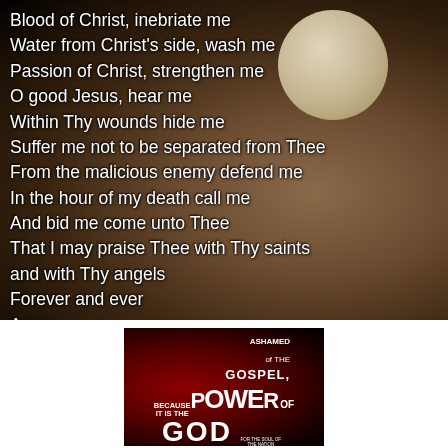[Figure (photo): Dark background photo of hands holding a Eucharistic host (communion wafer) with white prayer text overlaid. The host appears as a pale circular disc in the upper right. Hands are visible in warm brown tones against a very dark background.]
Blood of Christ, inebriate me
Water from Christ's side, wash me
Passion of Christ, strengthen me
O good Jesus, hear me
Within Thy wounds hide me
Suffer me not to be separated from Thee
From the malicious enemy defend me
In the hour of my death call me
And bid me come unto Thee
That I may praise Thee with Thy saints
and with Thy angels
Forever and ever
Amen
[Figure (photo): Dark red and black background image with text reading 'I AM NOT ASHAMED OF THE GOSPEL, BECAUSE IT IS THE POWER OF GOD' in bold white letters of varying sizes.]